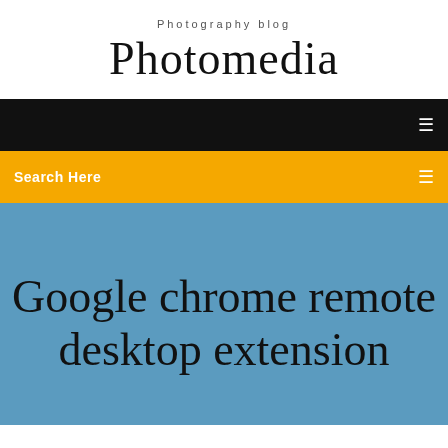Photography blog
Photomedia
[Figure (screenshot): Black navigation bar with a menu icon on the right]
[Figure (screenshot): Yellow/amber search bar with 'Search Here' text and a search icon on the right]
Google chrome remote desktop extension